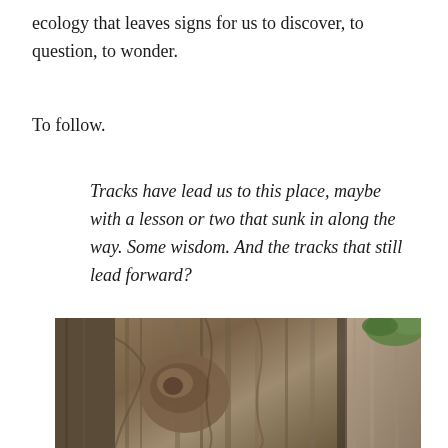ecology that leaves signs for us to discover, to question, to wonder.
To follow.
Tracks have lead us to this place, maybe with a lesson or two that sunk in along the way. Some wisdom. And the tracks that still lead forward?
[Figure (photo): Close-up photograph of the gnarled, textured bark of ancient trees, showing deep ridges and knots, with green foliage and additional tree trunks visible in the background.]